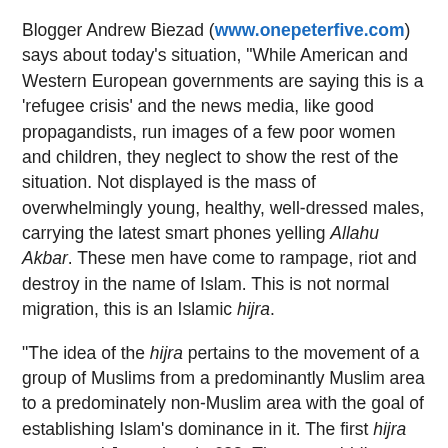Blogger Andrew Biezad (www.onepeterfive.com) says about today's situation, "While American and Western European governments are saying this is a 'refugee crisis' and the news media, like good propagandists, run images of a few poor women and children, they neglect to show the rest of the situation. Not displayed is the mass of overwhelmingly young, healthy, well-dressed males, carrying the latest smart phones yelling Allahu Akbar. These men have come to rampage, riot and destroy in the name of Islam. This is not normal migration, this is an Islamic hijra.
"The idea of the hijra pertains to the movement of a group of Muslims from a predominantly Muslim area to a predominately non-Muslim area with the goal of establishing Islam's dominance in it. The first hijra conquered Jerusalem in 638. The second hijra conquered Constantinople (now Istanbul) in 1453. According to certain voices in the Islamic world, the third and final hijra will be Rome and the Catholic Church which is the main obstacle impeding Islam's domination of all humanity. Therefore, tomorrow, the Christian faithful must not only be converted to Islam, but their sacred spaces must be taken from them and given to the Dar al-Islam – the House of Islam." As for America's